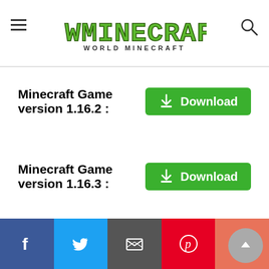[Figure (logo): World Minecraft website header with Minecraft-style logo text and hamburger menu icon and search icon]
Minecraft Game version 1.16.2 : Download
Minecraft Game version 1.16.3 : Download
Minecraft Game version 1.16.4 : Download
[Figure (other): Social share buttons: Facebook, Twitter, Email, Pinterest, Plus]